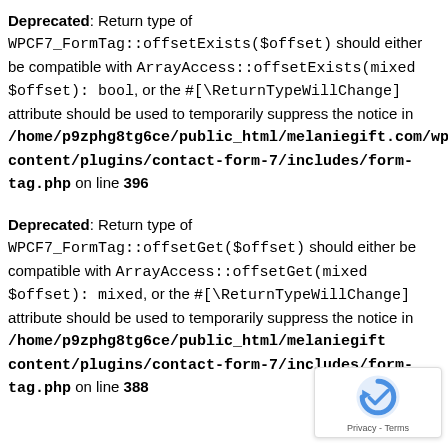Deprecated: Return type of WPCF7_FormTag::offsetExists($offset) should either be compatible with ArrayAccess::offsetExists(mixed $offset): bool, or the #[\ReturnTypeWillChange] attribute should be used to temporarily suppress the notice in /home/p9zphg8tg6ce/public_html/melaniegift.com/wp-content/plugins/contact-form-7/includes/form-tag.php on line 396
Deprecated: Return type of WPCF7_FormTag::offsetGet($offset) should either be compatible with ArrayAccess::offsetGet(mixed $offset): mixed, or the #[\ReturnTypeWillChange] attribute should be used to temporarily suppress the notice in /home/p9zphg8tg6ce/public_html/melaniegift.com/wp-content/plugins/contact-form-7/includes/form-tag.php on line 388